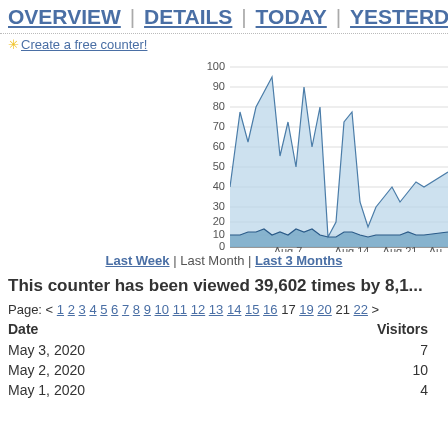OVERVIEW | DETAILS | TODAY | YESTERDAY
✳ Create a free counter!
[Figure (area-chart): Area chart showing two overlapping series: total visitors (light blue area) and unique visitors (darker area below), over approximately Aug 7 to Aug 28. Peaks around Aug 10 (~88), Aug 14 (~72), Aug 21 (~65).]
Last Week | Last Month | Last 3 Months
This counter has been viewed 39,602 times by 8,1...
Page: < 1 2 3 4 5 6 7 8 9 10 11 12 13 14 15 16 17 18 19 20 21 22 >
| Date | Visitors |
| --- | --- |
| May 3, 2020 | 7 |
| May 2, 2020 | 10 |
| May 1, 2020 | 4 |